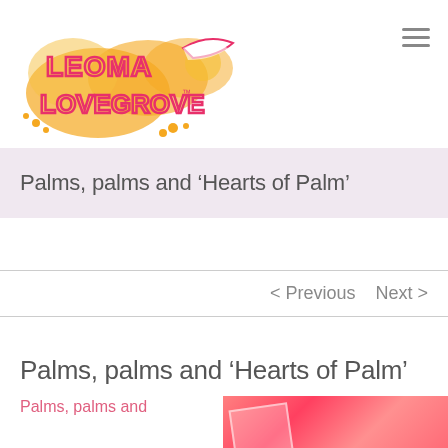Leoma Lovegrove (logo)
Palms, palms and ‘Hearts of Palm’
< Previous   Next >
Palms, palms and ‘Hearts of Palm’
Palms, palms and